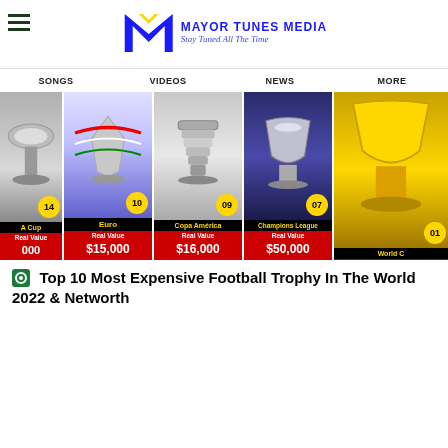[Figure (logo): Mayor Tunes Media logo with MTM letters in blue and tagline 'Stay Tuned All The Time' in yellow italic]
SONGS   VIDEOS   NEWS   MORE
[Figure (infographic): Top 10 Most Expensive Football Trophies strip showing trophies numbered 14, 10, 09, 07, 01 with names: A Cup, Euro, Copa América, Champions League, World C; Real Values: $15,000, $16,000, $50,000, $20,000]
Top 10 Most Expensive Football Trophy In The World 2022 & Networth